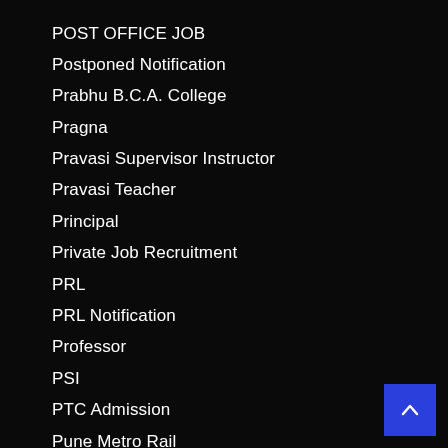POST OFFICE JOB
Postponed Notification
Prabhu B.C.A. College
Pragna
Pravasi Supervisor Instructor
Pravasi Teacher
Principal
Private Job Recruitment
PRL
PRL Notification
Professor
PSI
PTC Admission
Pune Metro Rail
Purak Pariksha